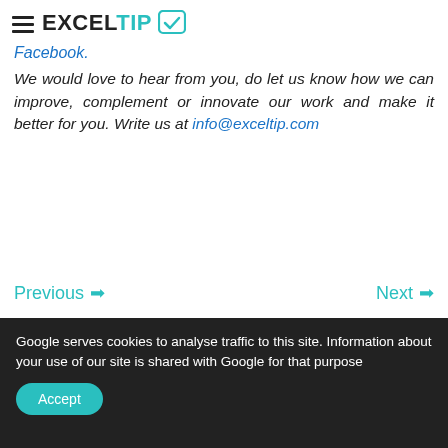EXCELTIP
Facebook. We would love to hear from you, do let us know how we can improve, complement or innovate our work and make it better for you. Write us at info@exceltip.com
Previous → Next →
Google serves cookies to analyse traffic to this site. Information about your use of our site is shared with Google for that purpose
Accept